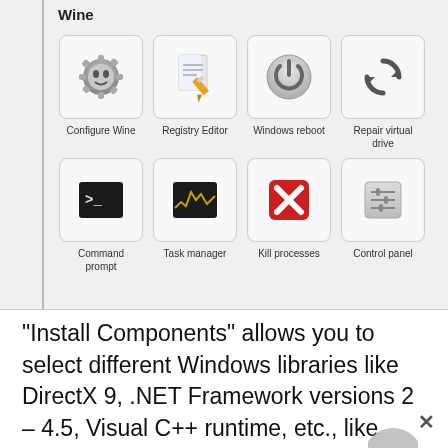Wine
[Figure (screenshot): Wine tools icon grid showing: Configure Wine, Registry Editor, Windows reboot, Repair virtual drive, Command prompt, Task manager, Kill processes, Control panel]
“Install Components” allows you to select different Windows libraries like DirectX 9, .NET Framework versions 2 – 4.5, Visual C++ runtime, etc., like winetricks.